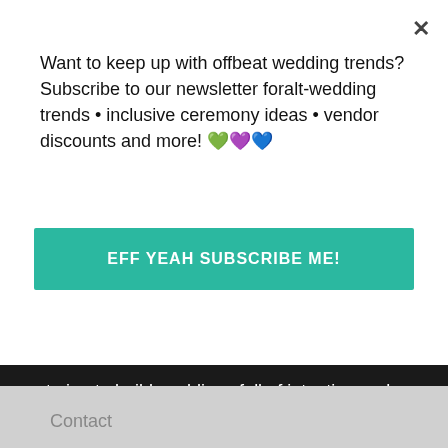Want to keep up with offbeat wedding trends?Subscribe to our newsletter for⁠alt-wedding trends • inclusive ceremony ideas • vendor discounts and more! 💚💜💙
EFF YEAH SUBSCRIBE ME!
trying to build weddings full of intention and personality. This fall, we'll be rebranding to Offbeat Wed to be more in alignment with our inclusive values. LEARN MORE
GET IN TOUCH
New Reader?
Submit
Advertise
Contact